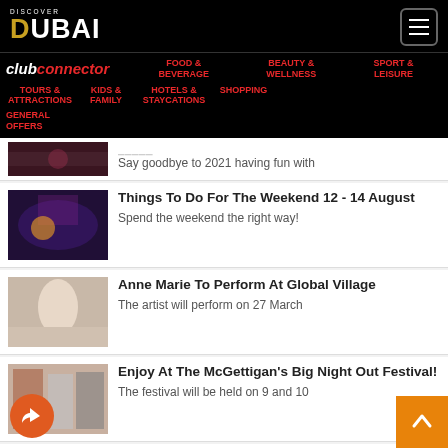DISCOVER DUBAI
club connector | FOOD & BEVERAGE | BEAUTY & WELLNESS | SPORT & LEISURE | TOURS & ATTRACTIONS | KIDS & FAMILY | HOTELS & STAYCATIONS | SHOPPING | GENERAL OFFERS
Say goodbye to 2021 having fun with
Things To Do For The Weekend 12 - 14 August
Spend the weekend the right way!
Anne Marie To Perform At Global Village
The artist will perform on 27 March
Enjoy At The McGettigan's Big Night Out Festival!
The festival will be held on 9 and 10
Things To Do During The Eid Holidays
It is time for the long Eid holiday fun!